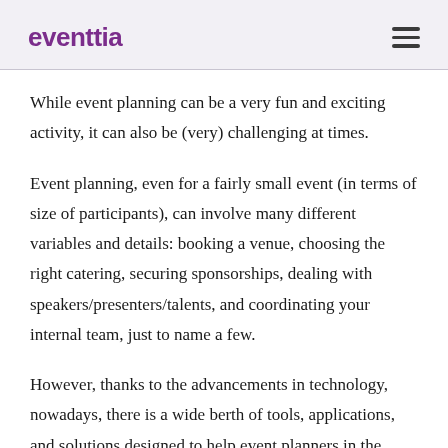eventtia
While event planning can be a very fun and exciting activity, it can also be (very) challenging at times.
Event planning, even for a fairly small event (in terms of size of participants), can involve many different variables and details: booking a venue, choosing the right catering, securing sponsorships, dealing with speakers/presenters/talents, and coordinating your internal team, just to name a few.
However, thanks to the advancements in technology, nowadays, there is a wide berth of tools, applications, and solutions designed to help event planners in the various